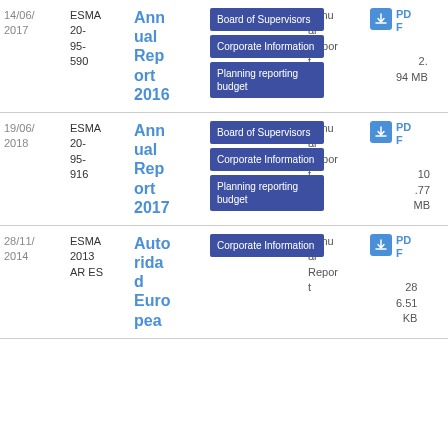| Date | Reference | Title | Tags | Type | Format | Size |
| --- | --- | --- | --- | --- | --- | --- |
| 14/06/2017 | ESMA 20-95-590 | Annual Report 2016 | Board of Supervisors, Corporate Information, Planning reporting budget | Annual Report | PDF | 2.94 MB |
| 19/06/2018 | ESMA 20-95-916 | Annual Report 2017 | Board of Supervisors, Corporate Information, Planning reporting budget | Annual Report | PDF | 10.77 MB |
| 28/11/2014 | ESMA 2013 AR ES | Autoridad Europea | Corporate Information | Annual Report | PDF | 286.51 KB |